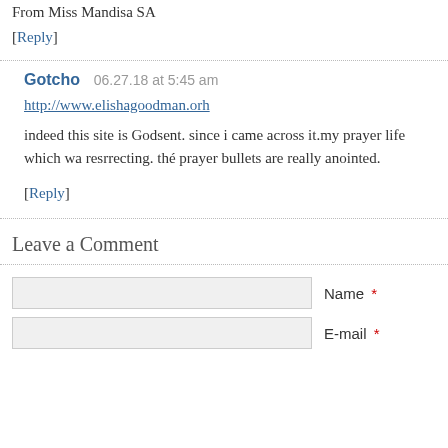From Miss Mandisa SA
[Reply]
Gotcho   06.27.18 at 5:45 am
http://www.elishagoodman.orh
indeed this site is Godsent. since i came across it.my prayer life which wa resrrecting. thé prayer bullets are really anointed.
[Reply]
Leave a Comment
Name *
E-mail *